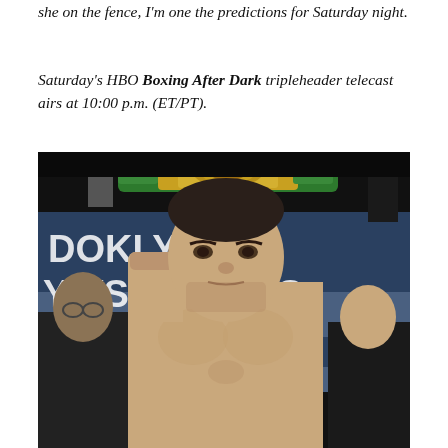she on the fence, I'm one the predictions for Saturday night.
Saturday's HBO Boxing After Dark tripleheader telecast airs at 10:00 p.m. (ET/PT).
[Figure (photo): A shirtless male boxer posing with his fist raised, in front of a Brooklyn boxing event banner. A WBC championship belt is being held up in the background.]